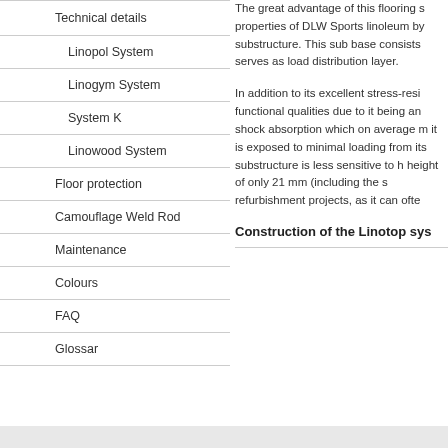Technical details
Linopol System
Linogym System
System K
Linowood System
Floor protection
Camouflage Weld Rod
Maintenance
Colours
FAQ
Glossar
The great advantage of this flooring s properties of DLW Sports linoleum by substructure. This sub base consists serves as load distribution layer.
In addition to its excellent stress-resi functional qualities due to it being an shock absorption which on average m it is exposed to minimal loading from its substructure is less sensitive to h height of only 21 mm (including the s refurbishment projects, as it can ofte
Construction of the Linotop sys